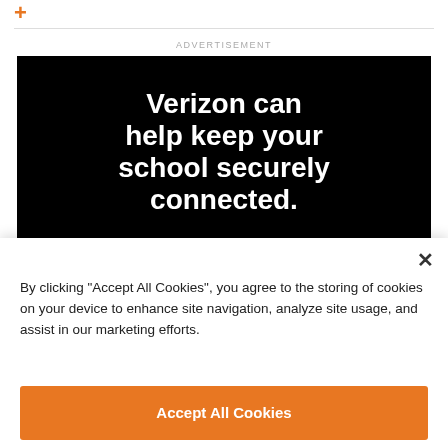+ [logo/navigation text]
ADVERTISEMENT
[Figure (photo): Verizon advertisement banner on black background with white bold text: 'Verizon can help keep your school securely connected.']
By clicking "Accept All Cookies", you agree to the storing of cookies on your device to enhance site navigation, analyze site usage, and assist in our marketing efforts.
Accept All Cookies
Reject All
Cookies Settings